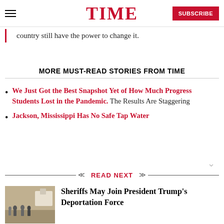TIME | SUBSCRIBE
country still have the power to change it.
MORE MUST-READ STORIES FROM TIME
We Just Got the Best Snapshot Yet of How Much Progress Students Lost in the Pandemic. The Results Are Staggering
Jackson, Mississippi Has No Safe Tap Water
READ NEXT
Sheriffs May Join President Trump's Deportation Force